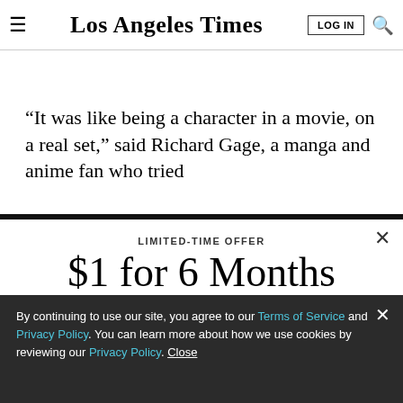Los Angeles Times — LOG IN
“It was like being a character in a movie, on a real set,” said Richard Gage, a manga and anime fan who tried
LIMITED-TIME OFFER
$1 for 6 Months
SUBSCRIBE NOW
By continuing to use our site, you agree to our Terms of Service and Privacy Policy. You can learn more about how we use cookies by reviewing our Privacy Policy. Close